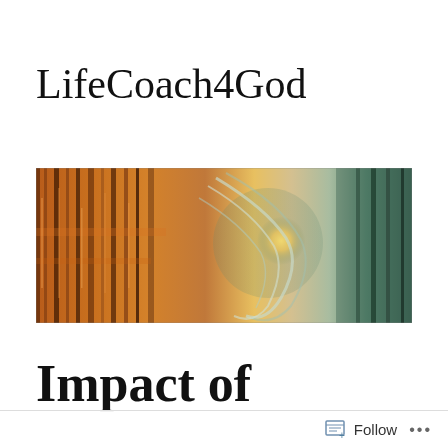LifeCoach4God
[Figure (photo): A wide banner image showing a curling ocean wave with golden reflections of light on the water surface, transitioning from orange/gold tones on the left to blue-green tones on the right.]
Impact of
Follow ...